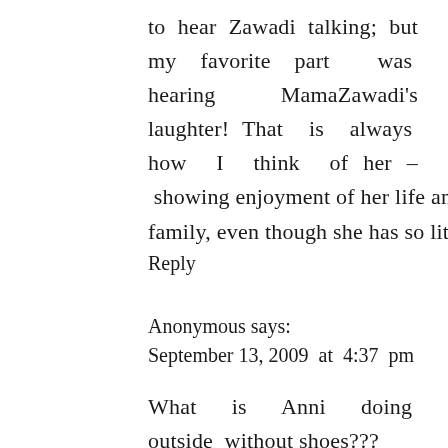to hear Zawadi talking; but my favorite part was hearing MamaZawadi's laughter! That is always how I think of her – showing enjoyment of her life and family, even though she has so little.
Reply
Anonymous says:
September 13, 2009 at 4:37 pm
What is Anni doing outside without shoes???